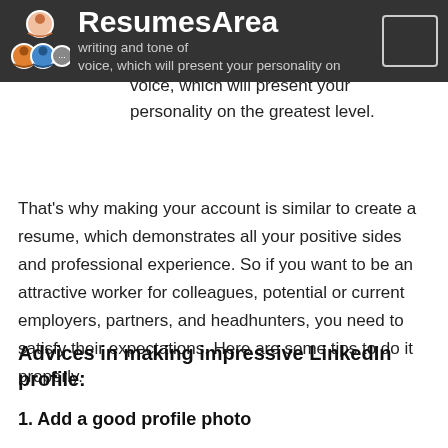ResumesArea — writing and tone of voice, which will present your personality on the greatest level.
That’s why making your account is similar to create a resume, which demonstrates all your positive sides and professional experience. So if you want to be an attractive worker for colleagues, potential or current employers, partners, and headhunters, you need to satisfy their expectations. Here are some tips to do it properly.
Advices in making impressive LinkedIn profile:
1. Add a good profile photo